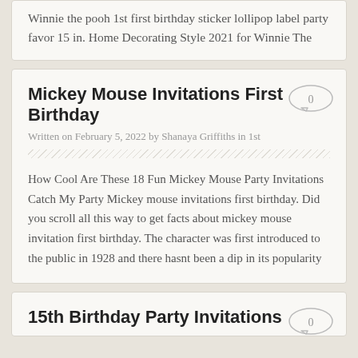Winnie the pooh 1st first birthday sticker lollipop label party favor 15 in. Home Decorating Style 2021 for Winnie The
Mickey Mouse Invitations First Birthday
Written on February 5, 2022 by Shanaya Griffiths in 1st
How Cool Are These 18 Fun Mickey Mouse Party Invitations Catch My Party Mickey mouse invitations first birthday. Did you scroll all this way to get facts about mickey mouse invitation first birthday. The character was first introduced to the public in 1928 and there hasnt been a dip in its popularity
15th Birthday Party Invitations